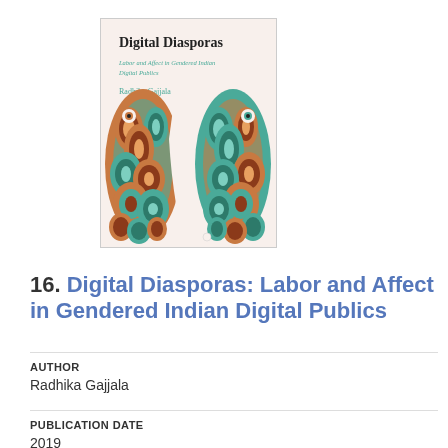[Figure (illustration): Book cover of 'Digital Diasporas: Labor and Affect in Gendered Indian Digital Publics' by Radhika Gajjala. Light pink background with decorative mandala/paisley elephant art forming the silhouette of India map. Title in black serif font, subtitle in teal/green italic font, author name in teal font.]
16. Digital Diasporas: Labor and Affect in Gendered Indian Digital Publics
AUTHOR
Radhika Gajjala
PUBLICATION DATE
2019